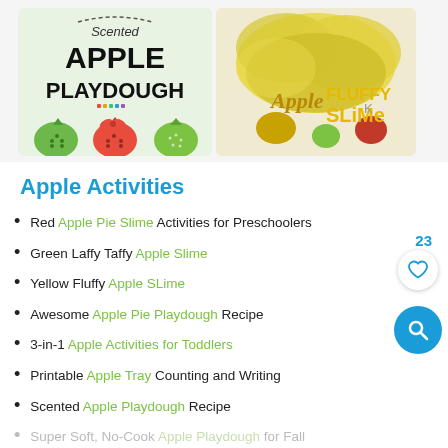[Figure (photo): Two side-by-side images: left shows 'Scented APPLE PLAYDOUGH' with apple-shaped playdough figures; right shows 'Apple Fluffy Slime' with yellow fluffy slime and apples]
Apple Activities
Red Apple Pie Slime Activities for Preschoolers
Green Laffy Taffy Apple Slime
Yellow Fluffy Apple SLime
Awesome Apple Pie Playdough Recipe
3-in-1 Apple Activities for Toddlers
Printable Apple Tray Counting and Writing
Scented Apple Playdough Recipe
Super Soft, No-Cook Apple Playdough for Fall